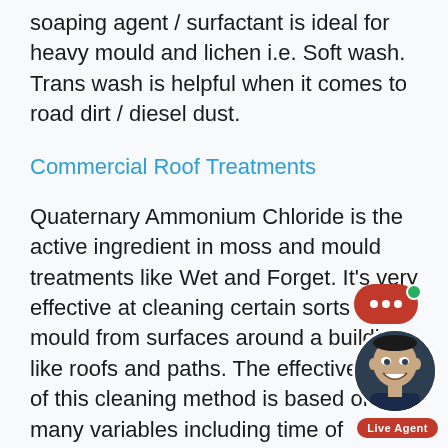soaping agent / surfactant is ideal for heavy mould and lichen i.e. Soft wash. Trans wash is helpful when it comes to road dirt / diesel dust.
Commercial Roof Treatments
Quaternary Ammonium Chloride is the active ingredient in moss and mould treatments like Wet and Forget. It's very effective at cleaning certain sorts of mould from surfaces around a building like roofs and paths. The effectiveness of this cleaning method is based on many variables including time of application, type of organic matter being cleaned, weather, strength at which it applied at, shade and the area being treated, organic matter and/or dampness in the area being treated, pitch of roofs being treated. To get the right idea of and if an area will clean up using a treatment